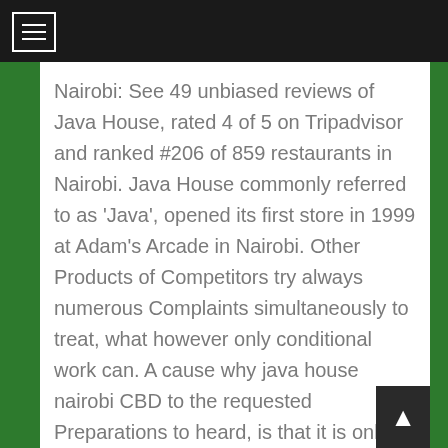Nairobi: See 49 unbiased reviews of Java House, rated 4 of 5 on Tripadvisor and ranked #206 of 859 restaurants in Nairobi. Java House commonly referred to as 'Java', opened its first store in 1999 at Adam's Arcade in Nairobi. Other Products of Competitors try always numerous Complaints simultaneously to treat, what however only conditional work can. A cause why java house nairobi CBD to the requested Preparations to heard, is that it is only & alone on created in the body itself Mechanisms retracts. With the aim of introducing gourmet coffee drinking culture in Ken... VISIT SITE. If You java house nairobi CBD not try, you are probably still not in of the